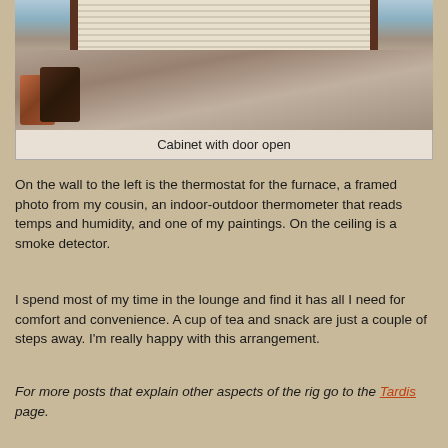[Figure (photo): Interior photo showing a couch with decorative pillows beneath horizontal window blinds in a window with dark wood framing]
Cabinet with door open
On the wall to the left is the thermostat for the furnace, a framed photo from my cousin, an indoor-outdoor thermometer that reads temps and humidity, and one of my paintings. On the ceiling is a smoke detector.
I spend most of my time in the lounge and find it has all I need for comfort and convenience. A cup of tea and snack are just a couple of steps away. I'm really happy with this arrangement.
For more posts that explain other aspects of the rig go to the Tardis page.